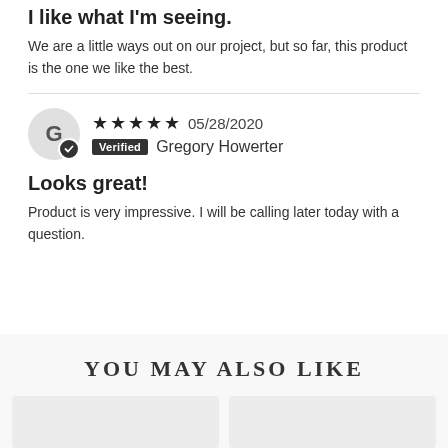I like what I'm seeing.
We are a little ways out on our project, but so far, this product is the one we like the best.
[Figure (other): Reviewer avatar circle with letter G and verified checkmark badge, 5-star rating, date 05/28/2020, verified badge, and name Gregory Howerter]
Looks great!
Product is very impressive. I will be calling later today with a question.
YOU MAY ALSO LIKE
[Figure (other): Two product card placeholders (light gray rectangles)]